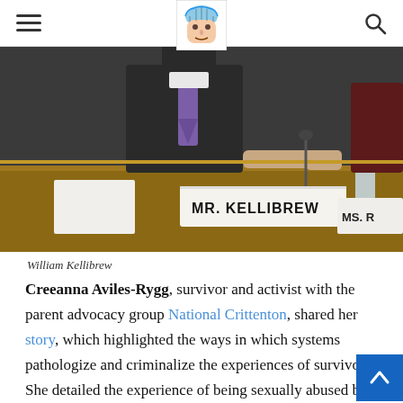Navigation header with hamburger menu, brain/face logo, and search icon
[Figure (photo): A man in a dark suit sitting at a hearing table with a nameplate reading 'MR. KELLIBREW'. Another nameplate partially visible on the right reads 'MS. R'. A water bottle and papers are on the table.]
William Kellibrew
Creeanna Aviles-Rygg, survivor and activist with the parent advocacy group National Crittenton, shared her story, which highlighted the ways in which systems pathologize and criminalize the experiences of survivors. She detailed the experience of being sexually abused by her mother's boyfriend, unable to tell her mother what was happening.
When Aviles-Rygg encountered the mental health system